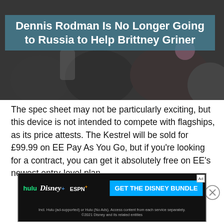[Figure (photo): A dark background photo showing people, with a teal/blue semi-transparent overlay containing the headline text 'Dennis Rodman Is No Longer Going to Russia to Help Brittney Griner']
Dennis Rodman Is No Longer Going to Russia to Help Brittney Griner
The spec sheet may not be particularly exciting, but this device is not intended to compete with flagships, as its price attests. The Kestrel will be sold for £99.99 on EE Pay As You Go, but if you're looking for a contract, you can get it absolutely free on EE's newest entry-level plan.
[Figure (screenshot): Advertisement banner for the Disney Bundle featuring Hulu, Disney+, and ESPN+ logos with a blue 'GET THE DISNEY BUNDLE' call-to-action button and fine print about service terms.]